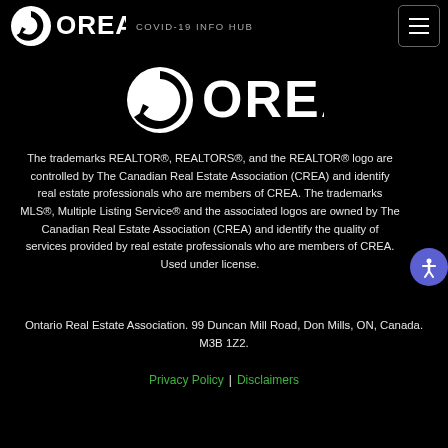OREA COVID-19 INFO HUB
[Figure (logo): Large OREA logo in white on black background]
The trademarks REALTOR®, REALTORS®, and the REALTOR® logo are controlled by The Canadian Real Estate Association (CREA) and identify real estate professionals who are members of CREA. The trademarks MLS®, Multiple Listing Service® and the associated logos are owned by The Canadian Real Estate Association (CREA) and identify the quality of services provided by real estate professionals who are members of CREA. Used under license.
Ontario Real Estate Association. 99 Duncan Mill Road, Don Mills, ON, Canada. M3B 1Z2.
Privacy Policy | Disclaimers